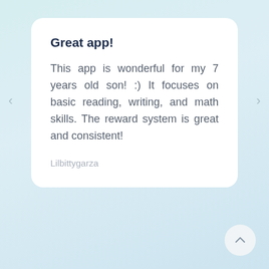Great app!
This app is wonderful for my 7 years old son! :) It focuses on basic reading, writing, and math skills. The reward system is great and consistent!
Lilbittygarza